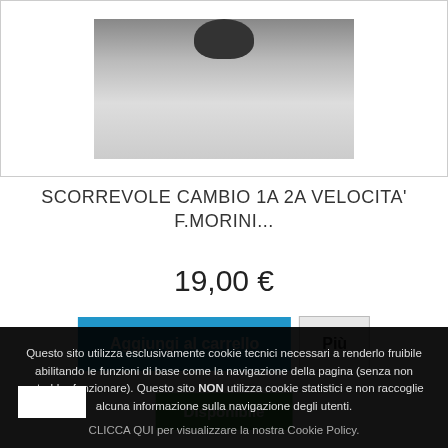[Figure (photo): Product photo of a mechanical part (gear/shift fork) against white background]
SCORREVOLE CAMBIO 1A 2A VELOCITA' F.MORINI...
19,00 €
Aggiungi al carrello
Più
Disponibile
Questo sito utilizza esclusivamente cookie tecnici necessari a renderlo fruibile abilitando le funzioni di base come la navigazione della pagina (senza non potrebbe funzionare). Questo sito NON utilizza cookie statistici e non raccoglie alcuna informazione sulla navigazione degli utenti. CLICCA QUI per visualizzare la nostra Cookie Policy.